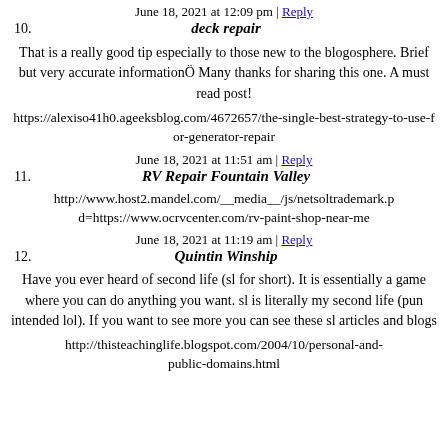June 18, 2021 at 12:09 pm | Reply
10. deck repair
That is a really good tip especially to those new to the blogosphere. Brief but very accurate informationÖ Many thanks for sharing this one. A must read post!
https://alexiso41h0.ageeksblog.com/4672657/the-single-best-strategy-to-use-for-generator-repair
June 18, 2021 at 11:51 am | Reply
11. RV Repair Fountain Valley
http://www.host2.mandel.com/__media__/js/netsoltrademark.pd=https://www.ocrvcenter.com/rv-paint-shop-near-me
June 18, 2021 at 11:19 am | Reply
12. Quintin Winship
Have you ever heard of second life (sl for short). It is essentially a game where you can do anything you want. sl is literally my second life (pun intended lol). If you want to see more you can see these sl articles and blogs
http://thisteachinglife.blogspot.com/2004/10/personal-and-public-domains.html